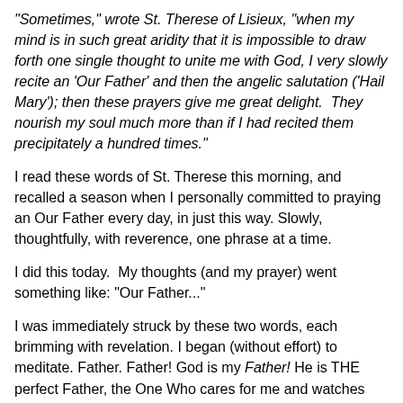"Sometimes," wrote St. Therese of Lisieux, "when my mind is in such great aridity that it is impossible to draw forth one single thought to unite me with God, I very slowly recite an 'Our Father' and then the angelic salutation ('Hail Mary'); then these prayers give me great delight.  They nourish my soul much more than if I had recited them precipitately a hundred times."
I read these words of St. Therese this morning, and recalled a season when I personally committed to praying an Our Father every day, in just this way. Slowly, thoughtfully, with reverence, one phrase at a time.
I did this today.  My thoughts (and my prayer) went something like: "Our Father..."
I was immediately struck by these two words, each brimming with revelation. I began (without effort) to meditate. Father. Father! God is my Father! He is THE perfect Father, the One Who cares for me and watches out for me and protects me and is in relationship with me. There was much more to this meditation, but before long the word "our" began to stand